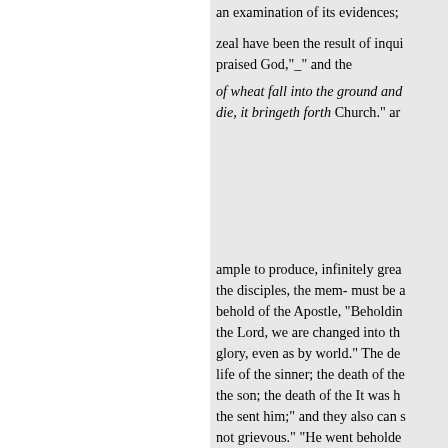an examination of its evidences;
zeal have been the result of inqui... praised God,"_" and the
of wheat fall into the ground and die, it bringeth forth Church." ar
ample to produce, infinitely grea the disciples, the mem- must be a behold of the Apostle, "Beholdin the Lord, we are changed into th glory, even as by world." The de life of the sinner; the death of the the son; the death of the It was h the sent him;" and they also can s not grievous." "He went beholde endeavourgoing to be crucified, c
up, will draw all men unto me." words which I have in heart;" an The world knoweth them not, for Christian springs from Christ; it